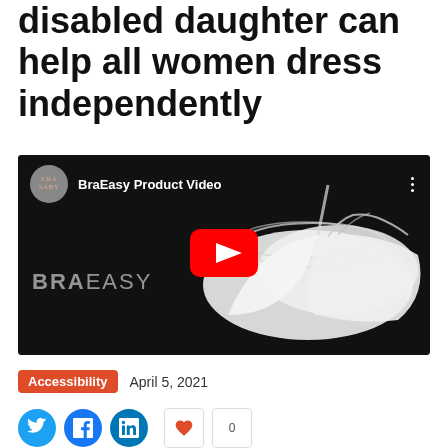disabled daughter can help all women dress independently
[Figure (screenshot): YouTube video thumbnail for 'BraEasy Product Video' showing a white bra on black background with red YouTube play button in center]
Accessibility   April 5, 2021
[Figure (infographic): Social media share icons: Twitter (light blue circle), Facebook (blue circle), LinkedIn (blue circle), and two share/bookmark buttons]